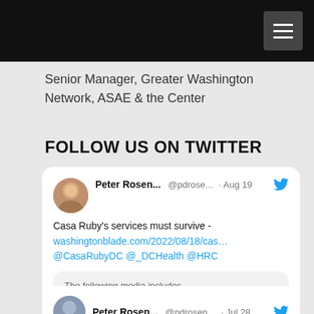Senior Manager, Greater Washington Network, ASAE & the Center
FOLLOW US ON TWITTER
[Figure (screenshot): Tweet from Peter Rosen... @pdrose... Aug 19: Casa Ruby's services must survive - washingtonblade.com/2022/08/18/cas... @CasaRubyDC @_DCHealth @HRC. Contains sensitive media notice with View button. Reply and like icons below.]
[Figure (screenshot): Second tweet card from Peter Rosen... @pdrosen... Jul 28, partially visible at bottom of page.]